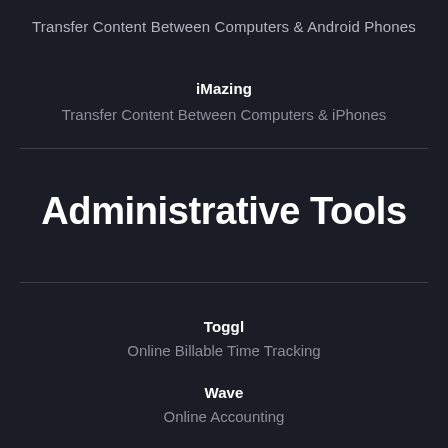Transfer Content Between Computers & Android Phones
iMazing
Transfer Content Between Computers & iPhones
Administrative Tools
Toggl
Online Billable Time Tracking
Wave
Online Accounting